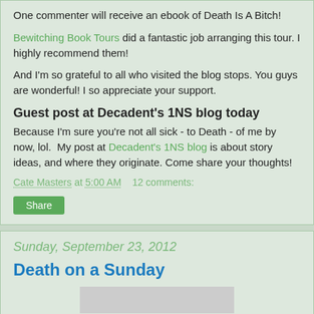One commenter will receive an ebook of Death Is A Bitch!
Bewitching Book Tours did a fantastic job arranging this tour. I highly recommend them!
And I'm so grateful to all who visited the blog stops. You guys are wonderful! I so appreciate your support.
Guest post at Decadent's 1NS blog today
Because I'm sure you're not all sick - to Death - of me by now, lol. My post at Decadent's 1NS blog is about story ideas, and where they originate. Come share your thoughts!
Cate Masters at 5:00 AM    12 comments:
Share
Sunday, September 23, 2012
Death on a Sunday
[Figure (photo): Partial image visible at bottom of page]